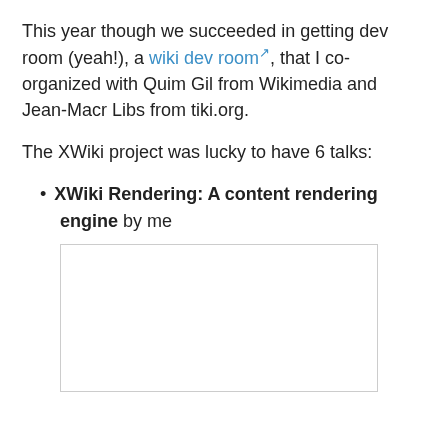This year though we succeeded in getting dev room (yeah!), a wiki dev room, that I co-organized with Quim Gil from Wikimedia and Jean-Macr Libs from tiki.org.
The XWiki project was lucky to have 6 talks:
XWiki Rendering: A content rendering engine by me
[Figure (other): A bordered white rectangle placeholder image below the list item]